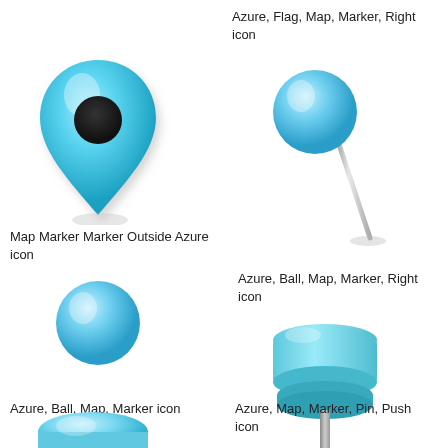Azure, Flag, Map, Marker, Right icon
[Figure (illustration): Blue teardrop map marker icon with dark circular hole, 3D style - Map Marker Marker Outside Azure icon]
Map Marker Marker Outside Azure icon
[Figure (illustration): Blue ball pin on metallic needle leaning right with shadow - Azure, Ball, Map, Marker, Right icon]
Azure, Ball, Map, Marker, Right icon
[Figure (illustration): Blue ball pin on metallic needle standing upright with shadow - Azure, Ball, Map, Marker icon]
Azure, Ball, Map, Marker icon
[Figure (illustration): Light blue push pin / thumbtack icon with flat head and short stem - Azure, Map, Marker, Pin, Push icon]
Azure, Map, Marker, Pin, Push icon
[Figure (illustration): Partial blue circular disk icon at bottom left - partially visible]